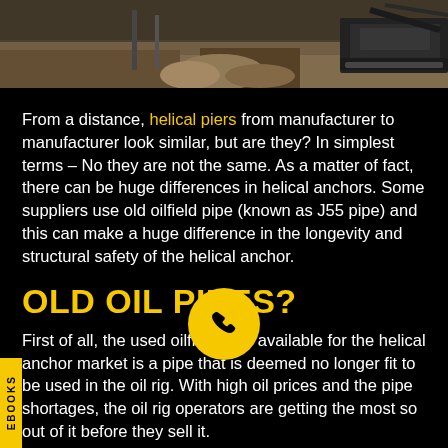[Figure (photo): Aerial view of construction site with heavy machinery on dirt/sandy ground]
From a distance, helical piers from manufacturer to manufacturer look similar, but are they? In simplest terms – No they are not the same. As a matter of fact, there can be huge differences in helical anchors. Some suppliers use old oilfield pipe (known as J55 pipe) and this can make a huge difference in the longevity and structural safety of the helical anchor.
OLD OIL PIPES?
First of all, the used oilfield pipe available for the helical anchor market is a pipe that is deemed no longer fit to be used in the oil rig. With high oil prices and the pipe shortages, the oil rig operators are getting the most so out of it before they sell it.